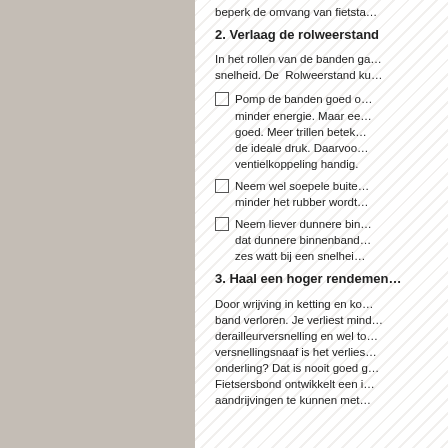beperk de omvang van fietsta…
2. Verlaag de rolweerstand
In het rollen van de banden ga… snelheid. De Rolweerstand ku…
Pomp de banden goed o… minder energie. Maar ee… goed. Meer trillen betek… de ideale druk. Daarvoo… ventielkoppeling handig.
Neem wel soepele buite… minder het rubber wordt…
Neem liever dunnere bin… dat dunnere binnenband… zes watt bij een snelhei…
3. Haal een hoger rendemen…
Door wrijving in ketting en ko… band verloren. Je verliest mind… derailleurversnelling en wel to… versnellingsnaaf is het verlies… onderling? Dat is nooit goed g… Fietsersbond ontwikkelt een i… aandrijvingen te kunnen met…